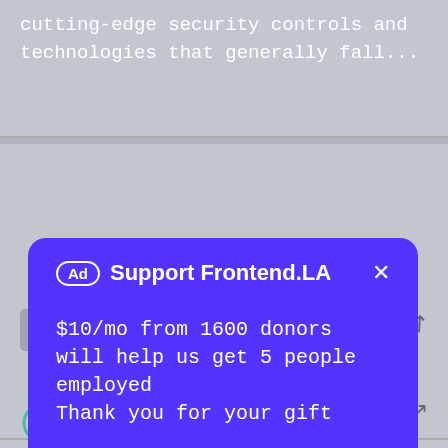cutting-edge security controls and technologies that generally fall...
[Figure (screenshot): Background card with icon and external link arrow, partially visible]
[Figure (infographic): Purple modal popup with Ad badge, title 'Support Frontend.LA', body text '$10/mo from 1600 donors will help us get 5 people employed Thank you for your gift', and pink 'I'M IN' button]
manage our Desktop Support team and IT Vendors, and will...
[Figure (screenshot): Bottom card section partially visible with icon]